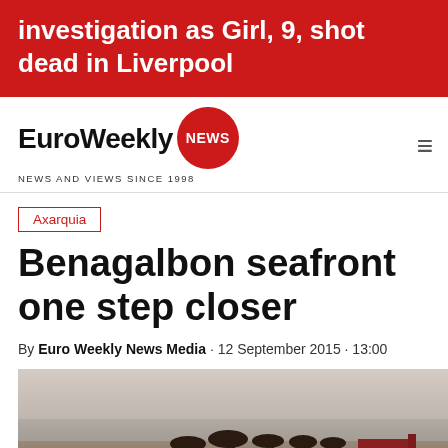investigation as Girl, 9, shot dead in Liverpool
[Figure (logo): EuroWeekly NEWS logo with red circle badge and tagline NEWS AND VIEWS SINCE 1998]
Axarquia
Benagalbon seafront one step closer
By Euro Weekly News Media · 12 September 2015 · 13:00
[Figure (photo): Coastal seafront photograph showing beach, sea, palm trees and a red structure on the shore]